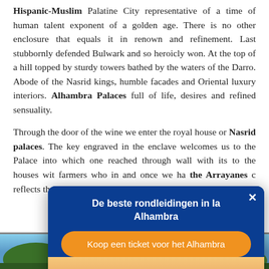Hispanic-Muslim Palatine City representative of a time of human talent exponent of a golden age. There is no other enclosure that equals it in renown and refinement. Last stubbornly defended Bulwark and so heroicly won. At the top of a hill topped by sturdy towers bathed by the waters of the Darro. Abode of the Nasrid kings, humble facades and Oriental luxury interiors. Alhambra Palaces full of life, desires and refined sensuality.
Through the door of the wine we enter the royal house or Nasrid palaces. The key engraved in the enclave welcomes us to the Palace into which one reaches through... wall with its to... the houses wit... farmers who in... and once we ha... the Arrayanes c... reflects the tow... the Ambassado...
[Figure (screenshot): A popup advertisement overlay for tours of the Alhambra. Blue background header with white bold text 'De beste rondleidingen in la Alhambra', an orange rounded button with white text 'Koop een ticket voor het Alhambra', and a photo of the Alhambra palace complex at sunset with green trees in the foreground. A white X close button appears in the top right corner of the popup.]
[Figure (photo): Bottom strip showing the tops of green trees against a blue sky, partially visible at the bottom of the page.]